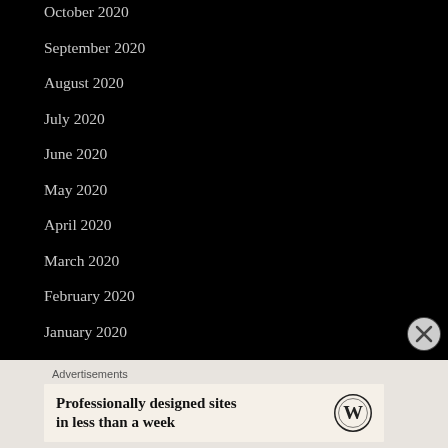October 2020
September 2020
August 2020
July 2020
June 2020
May 2020
April 2020
March 2020
February 2020
January 2020
December 2019
November 2019
October 2019
Advertisements
Professionally designed sites in less than a week